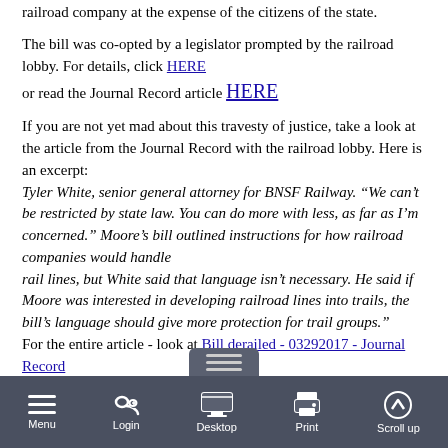railroad company at the expense of the citizens of the state.
The bill was co-opted by a legislator prompted by the railroad lobby. For details, click HERE or read the Journal Record article HERE
If you are not yet mad about this travesty of justice, take a look at the article from the Journal Record with the railroad lobby. Here is an excerpt:
Tyler White, senior general attorney for BNSF Railway. "We can't be restricted by state law. You can do more with less, as far as I'm concerned." Moore's bill outlined instructions for how railroad companies would handle rail lines, but White said that language isn't necessary. He said if Moore was interested in developing railroad lines into trails, the bill's language should give more protection for trail groups."
For the entire article - look at Bill derailed - 03292017 - Journal Record
Menu  Login  Desktop  Print  Scroll up